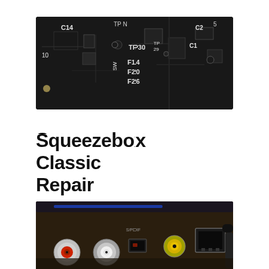[Figure (photo): Close-up photograph of a dark PCB (printed circuit board) showing component labels including C14, TP30, TP29, F14, F20, F26, C1, C2, SW, and test points on a black background with white silkscreen markings.]
Squeezebox Classic Repair
[Figure (photo): Photograph of the back panel of a Squeezebox Classic device showing RCA audio connectors (red and white), an optical S/PDIF port, and an Ethernet RJ45 port, with cables connected, on a dark wooden surface.]